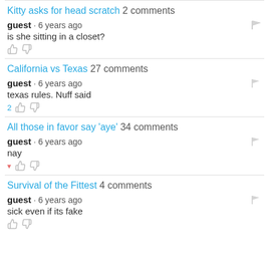Kitty asks for head scratch 2 comments
guest · 6 years ago
is she sitting in a closet?
California vs Texas 27 comments
guest · 6 years ago
texas rules. Nuff said
All those in favor say 'aye' 34 comments
guest · 6 years ago
nay
Survival of the Fittest 4 comments
guest · 6 years ago
sick even if its fake